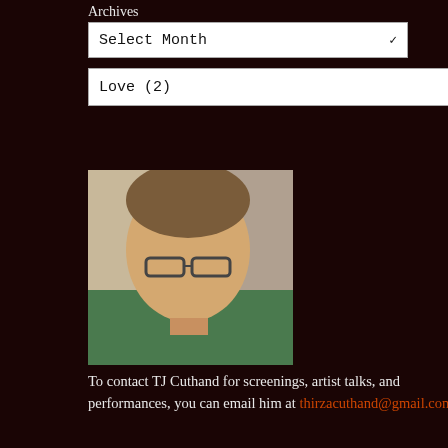Archives
Select Month
Love (2)
[Figure (photo): Portrait photo of TJ Cuthand, a person with short hair and glasses wearing a green shirt, photographed indoors.]
To contact TJ Cuthand for screenings, artist talks, and performances, you can email him at thirzacuthand@gmail.com.